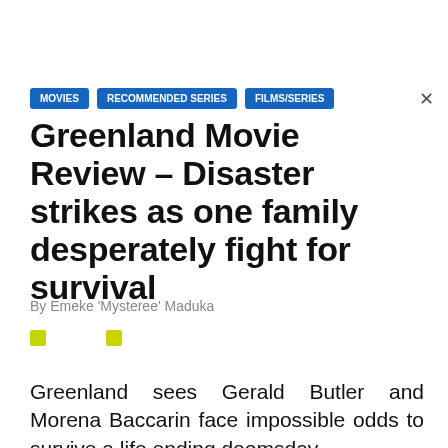MOVIES  RECOMMENDED SERIES  FILMS/SERIES
Greenland Movie Review – Disaster strikes as one family desperately fight for survival
By Emeke 'Mysteree' Maduka
Greenland sees Gerald Butler and Morena Baccarin face impossible odds to survive a life ending doomsday